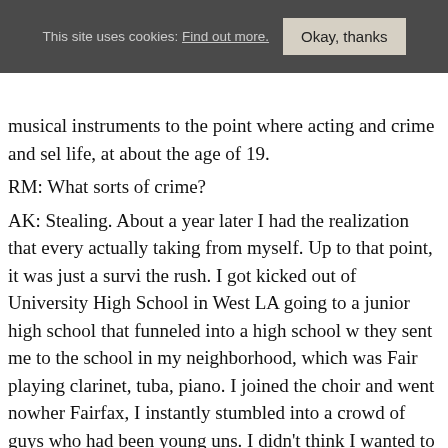This site uses cookies: Find out more.  Okay, thanks
musical instruments to the point where acting and crime and sel life, at about the age of 19.
RM: What sorts of crime?
AK: Stealing. About a year later I had the realization that every actually taking from myself. Up to that point, it was just a survi the rush. I got kicked out of University High School in West LA going to a junior high school that funneled into a high school w they sent me to the school in my neighborhood, which was Fair playing clarinet, tuba, piano. I joined the choir and went nowher Fairfax, I instantly stumbled into a crowd of guys who had been young uns. I didn't think I wanted to do that. I thought, How co I'd get into acting and sort of party and watch my friends play m join them in that reindeer game. But one day, two years after hig someone said Why not let Anthony be the singer in the band for would be cool. He's a freak; he'd look good with a mic in his ha musical experience began. If I would have stayed at University other friends I might not have... But, of course it was meant to